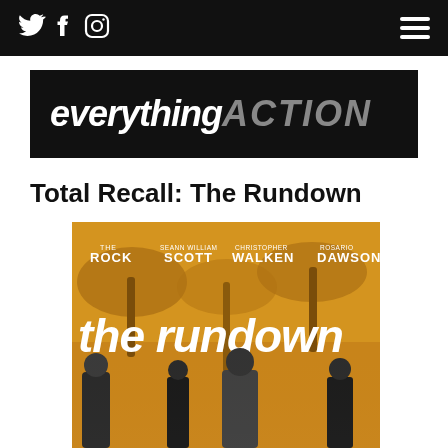Social icons: Twitter, Facebook, Instagram | Hamburger menu
[Figure (logo): Everything Action website logo — white italic 'everything' followed by grey italic bold uppercase 'ACTION' on black background]
Total Recall: The Rundown
[Figure (photo): Movie poster for 'The Rundown' featuring The Rock, Seann William Scott, Christopher Walken, Rosario Dawson on an orange/gold toned background with palm trees. Large white text 'the rundown' across the middle. Four actors standing in the foreground in black and white.]